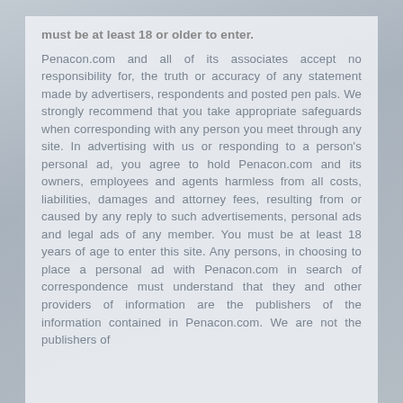must be at least 18 or older to enter.
Penacon.com and all of its associates accept no responsibility for, the truth or accuracy of any statement made by advertisers, respondents and posted pen pals. We strongly recommend that you take appropriate safeguards when corresponding with any person you meet through any site. In advertising with us or responding to a person's personal ad, you agree to hold Penacon.com and its owners, employees and agents harmless from all costs, liabilities, damages and attorney fees, resulting from or caused by any reply to such advertisements, personal ads and legal ads of any member. You must be at least 18 years of age to enter this site. Any persons, in choosing to place a personal ad with Penacon.com in search of correspondence must understand that they and other providers of information are the publishers of the information contained in Penacon.com. We are not the publishers of